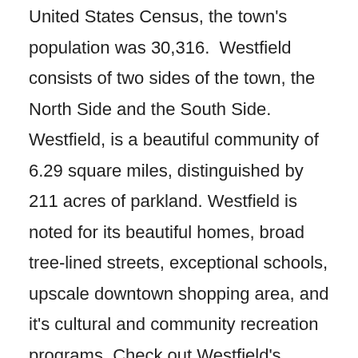United States Census, the town's population was 30,316. Westfield consists of two sides of the town, the North Side and the South Side. Westfield, is a beautiful community of 6.29 square miles, distinguished by 211 acres of parkland. Westfield is noted for its beautiful homes, broad tree-lined streets, exceptional schools, upscale downtown shopping area, and it's cultural and community recreation programs. Check out Westfield's market statistics HERE!
Shopping and Dining – Westfield's downtown features many local and national stores, such as Lord & Taylor and several landmarks. There are over 40